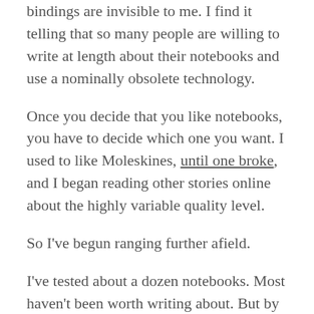bindings are invisible to me. I find it telling that so many people are willing to write at length about their notebooks and use a nominally obsolete technology.
Once you decide that you like notebooks, you have to decide which one you want. I used to like Moleskines, until one broke, and I began reading other stories online about the highly variable quality level.
So I've begun ranging further afield.
I've tested about a dozen notebooks. Most haven't been worth writing about. But by now I've found the best reasonably available notebooks, and I can say this: you probably don't actually want a Guildhall Pocket Notebook, which is number two. You want a Rhodia Webnotebook.
Like many notebooks, the Guildhall starts off with